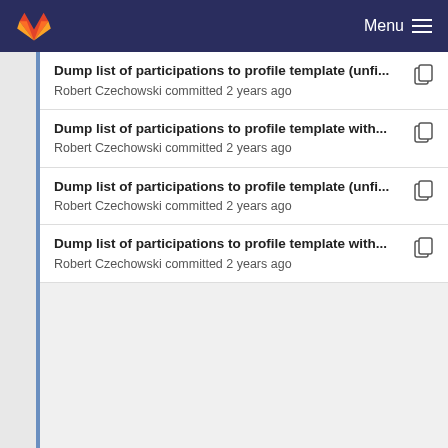Menu
Dump list of participations to profile template (unfi...
Robert Czechowski committed 2 years ago
Dump list of participations to profile template with...
Robert Czechowski committed 2 years ago
Dump list of participations to profile template (unfi...
Robert Czechowski committed 2 years ago
Dump list of participations to profile template with...
Robert Czechowski committed 2 years ago
Rustfmt ALL the code!
Robert Czechowski committed 3 years ago